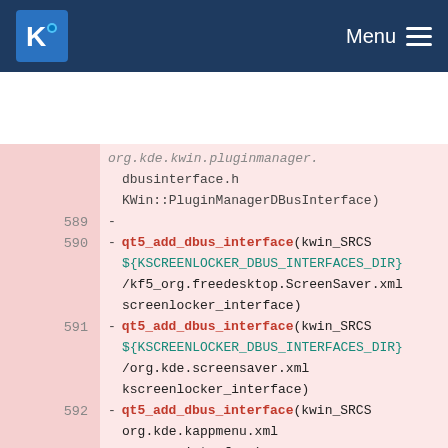KDE Menu
[Figure (screenshot): KDE application navigation bar with logo and Menu hamburger icon]
Code diff view showing CMakeLists lines 589-598 with qt5_add_dbus_interface and ki18n_wrap_ui cmake commands